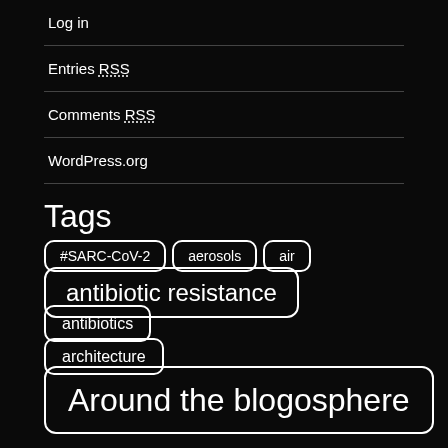Log in
Entries RSS
Comments RSS
WordPress.org
Tags
#SARC-CoV-2
aerosols
air
antibiotic resistance
antibiotics
architecture
Around the blogosphere